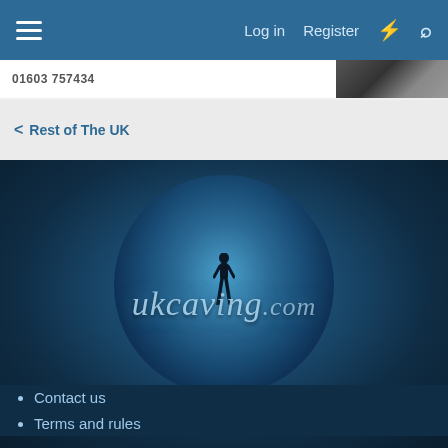Log in  Register
01603 757434
< Rest of The UK
[Figure (logo): ukcaving.com logo with silhouette of person standing inside a circular cave tunnel, on dark blue background]
Contact us
Terms and rules